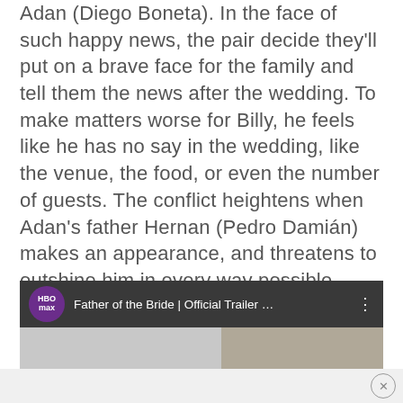Adan (Diego Boneta). In the face of such happy news, the pair decide they'll put on a brave face for the family and tell them the news after the wedding. To make matters worse for Billy, he feels like he has no say in the wedding, like the venue, the food, or even the number of guests. The conflict heightens when Adan's father Hernan (Pedro Damián) makes an appearance, and threatens to outshine him in every way possible.
[Figure (screenshot): Video thumbnail showing 'Father of the Bride | Official Trailer...' on HBO Max, with dark top bar, HBO Max purple logo, video title, and three-dot menu icon. Below is a partial video frame with grey/beige tones.]